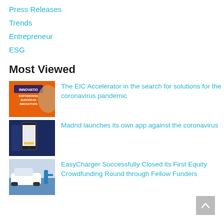Press Releases
Trends
Entrepreneur
ESG
Most Viewed
[Figure (photo): Orange European Innovation / Empowering European Innovators banner with a person's face]
The EIC Accelerator in the search for solutions for the coronavirus pandemic
[Figure (photo): Dark blue background with a smartphone showing an app]
Madrid launches its own app against the coronavirus
[Figure (photo): White electric car being charged at a blue charging station outdoors]
EasyCharger Successfully Closed its First Equity Crowdfunding Round through Fellow Funders